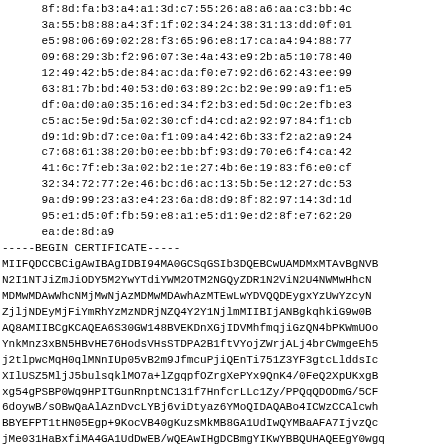8f:8d:fa:b3:a4:a1:3d:c7:55:26:a8:a6:aa:c3:bb:4c
3a:55:b8:88:a4:3f:1f:02:34:24:38:31:13:dd:0f:01
e5:98:06:69:02:28:f3:65:96:e8:17:ca:a4:94:88:77
09:68:29:3b:f2:96:07:3e:4a:43:e9:2b:a5:10:78:40
12:49:42:b5:de:84:ac:da:f0:e7:92:d6:62:43:ee:99
63:81:7b:bd:40:53:d0:63:89:2c:b2:9e:99:a9:f1:e5
df:0a:d0:a0:35:16:ed:34:f2:b3:ed:5d:0c:2e:fb:e3
c5:ac:5e:9d:5a:02:30:cf:d4:cd:a2:92:97:84:f1:cb
d9:1d:9b:d7:ce:0a:f1:09:a4:42:6b:33:f2:a2:a9:24
c7:68:61:38:20:b0:ee:bb:bf:93:d9:70:e6:f4:ca:42
41:6c:7f:eb:3a:02:b2:1e:27:4b:6e:19:83:f6:e0:cf
32:34:72:77:2e:46:bc:d6:ac:13:5b:5e:12:27:dc:53
9a:d9:99:23:a3:e4:23:6a:d8:d9:8f:82:97:14:3d:1d
95:e1:d5:0f:fb:59:e8:a1:e5:d1:9e:d2:8f:e7:62:20
ea:de:8d:a9
-----BEGIN CERTIFICATE-----
MIIFQDCCBCigAwIBAgIDBI94MA0GCSqGSIb3DQEBCwUAMDMxMTAvBgNVB
N2I1NTJiZmJiODY5M2YwYTdiYWM2OTM2NGQyZDR1N2ViN2U4NWMwHhcN
MDMwMDAwWhcNMjMwNjAzMDMwMDAwhAzMTEwLwYDVQQDEygxYzUwYzcyN
ZjljNDEyMjFiYmRhYzMzNDRjNZQ4Y2Y1NjlmMIIBIjANBgkqhkiG9w0B
AQ8AMIIBCgKCAQEA6S30GW148BVEKDnXGjIDVMhfmqjiGzQN4bPKWmUOo
YnkMnz3xBN5HBvHE76HodsVHsSTDPA2B1ftVYojZWrjALj4brCWmgeEh5
j2tlpwcMqH0qlMNnIUp05vB2m9JfmcuPjiQEnTi751Z3YF3gtcLlddsIc
XIlUSZ5MljJ5bulsqklMO7a+lZgqpfOZrgXePYx9QnK4/0FeQ2XpUKxgB
xg54gPSBP0Wq9HPITGunRnptNC131f7HnfcrLLc1Zy/PPQqQDODmG/5CF
6doywB/sOBwQaAlAznDvcLYBj6viDtyaz6YMoQIDAQABo4ICWzCCAlcwh
BBYEFPT1tHN05Egp+9KocVB40gKuzsMkMB8GA1UdIwQYMBaAFA7IjvzQc
jMe031HaBxfiMA4GA1UdDwEB/wQEAwIHgDCBmgYIKwYBBQUHAQEEgY0wgq
CCsGAQUFBzAChntyc3luYzovL3JlcG9zaXRvcnkvR0ZjbmljbG5jNWxdC9yc
Y25pYy800GYwODNiYi1mNjAzLTQ4OTMtOTk5MC0wMjg0YzA0Y2ViODUvM